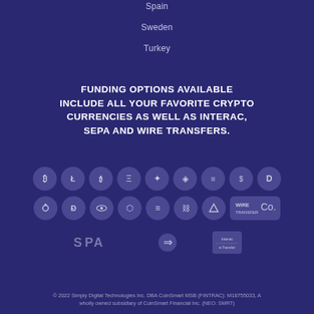Spain
Sweden
Turkey
FUNDING OPTIONS AVAILABLE INCLUDE ALL YOUR FAVORITE CRYPTO CURRENCIES AS WELL AS INTERAC, SEPA and WIRE TRANSFERS.
[Figure (illustration): Two rows of circular cryptocurrency and payment icons in muted purple tones, including Bitcoin, Litecoin, Ethereum, Stellar, and others. Below: SEPA logo, arrow/interac icon, and Interac logo.]
© 2022 Simply Digital Technologies Inc. DBA CoinSmart MSB (FINTRAC): M18755033, A wholly owned subsidiary of CoinSmart Financial Inc. (NEO: SMRT)